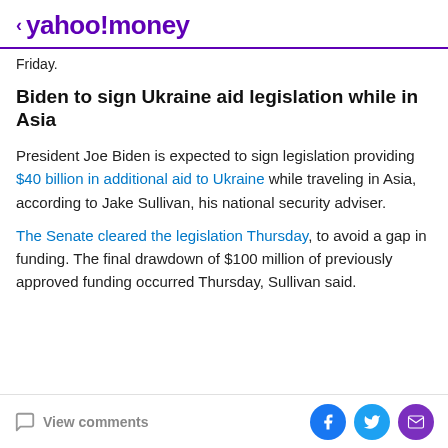< yahoo!money
Friday.
Biden to sign Ukraine aid legislation while in Asia
President Joe Biden is expected to sign legislation providing $40 billion in additional aid to Ukraine while traveling in Asia, according to Jake Sullivan, his national security adviser.
The Senate cleared the legislation Thursday, to avoid a gap in funding. The final drawdown of $100 million of previously approved funding occurred Thursday, Sullivan said.
View comments